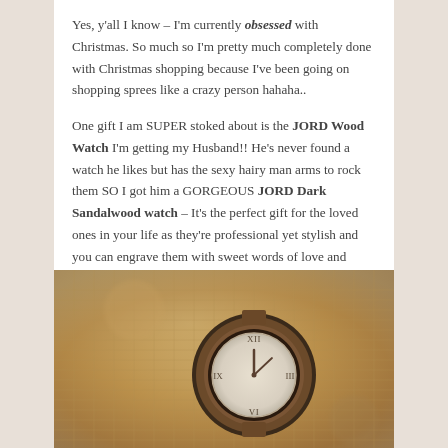Yes, y'all I know – I'm currently obsessed with Christmas. So much so I'm pretty much completely done with Christmas shopping because I've been going on shopping sprees like a crazy person hahaha..
One gift I am SUPER stoked about is the JORD Wood Watch I'm getting my Husband!! He's never found a watch he likes but has the sexy hairy man arms to rock them SO I got him a GORGEOUS JORD Dark Sandalwood watch – It's the perfect gift for the loved ones in your life as they're professional yet stylish and you can engrave them with sweet words of love and appreciation ➤
[Figure (photo): Close-up photo of a wooden watch face with Roman numerals, held against a burlap/woven fabric background. The watch appears to be a JORD Dark Sandalwood watch.]